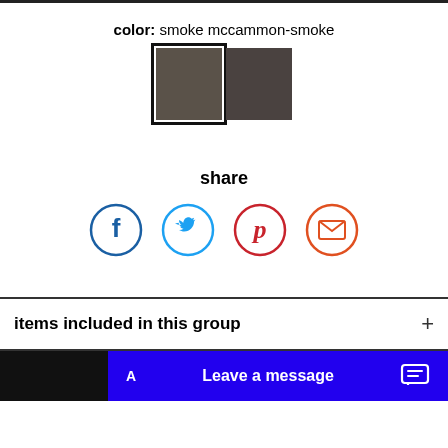color:  smoke mccammon-smoke
[Figure (illustration): Two color swatches side by side: left swatch selected (black border) showing smoke/dark gray-brown texture, right swatch showing mccammon-smoke darker gray-brown texture.]
share
[Figure (infographic): Four social sharing icons in circles: Facebook (dark blue), Twitter (light blue), Pinterest (red), Email/envelope (red-orange).]
items included in this group
Leave a message